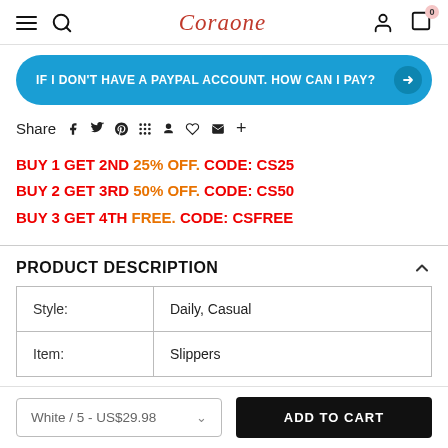Coraone
IF I DON'T HAVE A PAYPAL ACCOUNT. HOW CAN I PAY?
Share
BUY 1 GET 2ND 25% OFF. CODE: CS25
BUY 2 GET 3RD 50% OFF. CODE: CS50
BUY 3 GET 4TH FREE. CODE: CSFREE
PRODUCT DESCRIPTION
|  |  |
| --- | --- |
| Style: | Daily, Casual |
| Item: | Slippers |
White / 5 - US$29.98
ADD TO CART